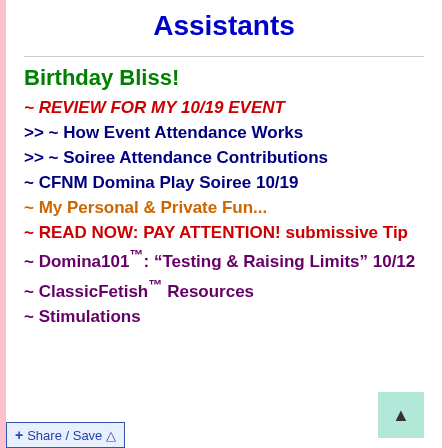Assistants
Birthday Bliss!
~ REVIEW FOR MY 10/19 EVENT
>> ~ How Event Attendance Works
>> ~ Soiree Attendance Contributions
~ CFNM Domina Play Soiree 10/19
~ My Personal & Private Fun...
~ READ NOW: PAY ATTENTION! submissive Tip
~ Domina101™: “Testing & Raising Limits” 10/12
~ ClassicFetish™ Resources
~ Stimulations